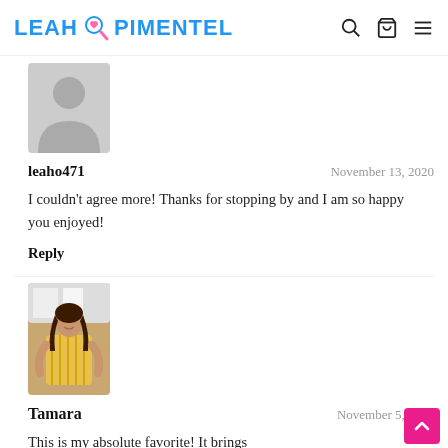LEAH PIMENTEL
[Figure (illustration): Gray silhouette placeholder avatar image for user leaho471]
leaho471    November 13, 2020
I couldn't agree more! Thanks for stopping by and I am so happy you enjoyed!
Reply
[Figure (photo): Photo of Tamara, a woman with long dark hair wearing a yellow striped top, standing in a kitchen]
Tamara    November 5, 2020
This is my absolute favorite! It brings